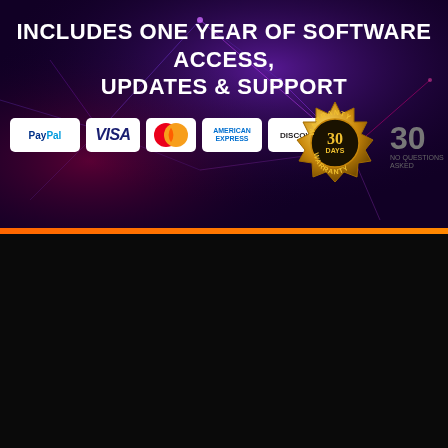[Figure (infographic): Dark purple/navy tech background with glowing network lines and nodes, payment method logos (PayPal, Visa, Mastercard, American Express, Discover), and a 30-day warranty gold badge]
INCLUDES ONE YEAR OF SOFTWARE ACCESS, UPDATES & SUPPORT
You Have No Risk With Our 30 Day 'No Worries'
MONEY BACK
Need help? Chat now